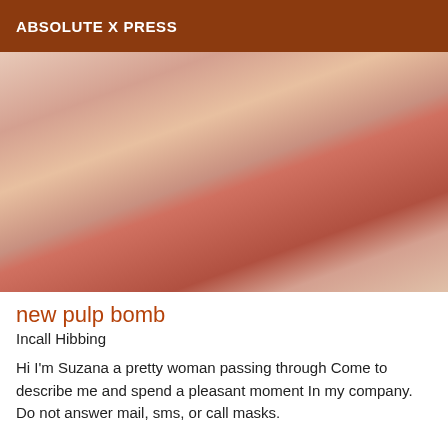ABSOLUTE X PRESS
[Figure (photo): Photo of a person in red clothing, cropped torso view]
new pulp bomb
Incall Hibbing
Hi I'm Suzana a pretty woman passing through Come to describe me and spend a pleasant moment In my company. Do not answer mail, sms, or call masks.